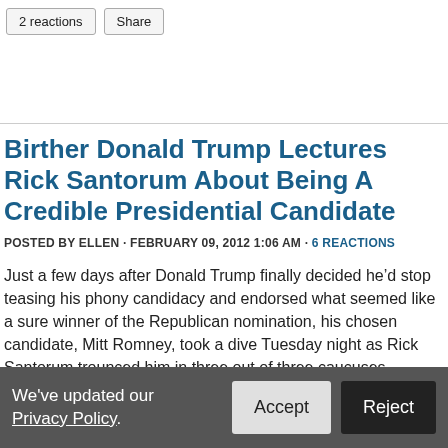2 reactions   Share
Birther Donald Trump Lectures Rick Santorum About Being A Credible Presidential Candidate
POSTED BY ELLEN · FEBRUARY 09, 2012 1:06 AM · 6 REACTIONS
Just a few days after Donald Trump finally decided he'd stop teasing his phony candidacy and endorsed what seemed like a sure winner of the Republican nomination, his chosen candidate, Mitt Romney, took a dive Tuesday night as Rick Santorum trounced him in three out of three caucuses. Trump, appearing on On The Record last night, was clearly displeased by this turn of events. It not only put his own ticket on the
We've updated our Privacy Policy.   Accept   Reject